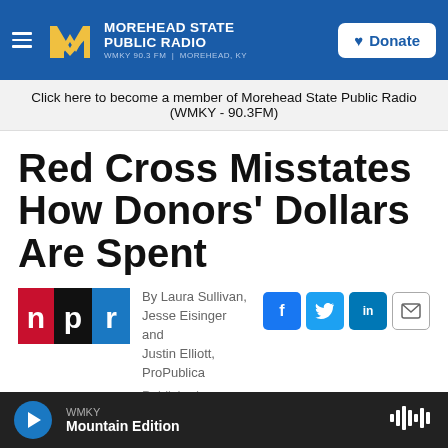Morehead State Public Radio — WMKY 90.3 FM | Morehead, KY — Donate
Click here to become a member of Morehead State Public Radio (WMKY - 90.3FM)
Red Cross Misstates How Donors' Dollars Are Spent
By Laura Sullivan, Jesse Eisinger and Justin Elliott, ProPublica
Published December 4,
WMKY Mountain Edition